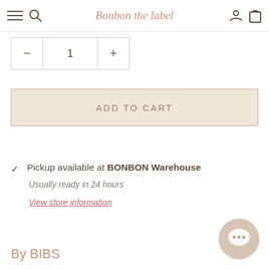Bonbon the label
1 (quantity selector with minus and plus buttons)
ADD TO CART
Pickup available at BONBON Warehouse
Usually ready in 24 hours
View store information
By BIBS